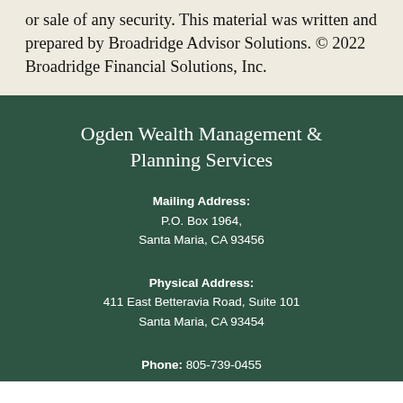or sale of any security. This material was written and prepared by Broadridge Advisor Solutions. © 2022 Broadridge Financial Solutions, Inc.
Ogden Wealth Management & Planning Services
Mailing Address: P.O. Box 1964, Santa Maria, CA 93456
Physical Address: 411 East Betteravia Road, Suite 101 Santa Maria, CA 93454
Phone: 805-739-0455 www.ogdenwealthmanagement.com